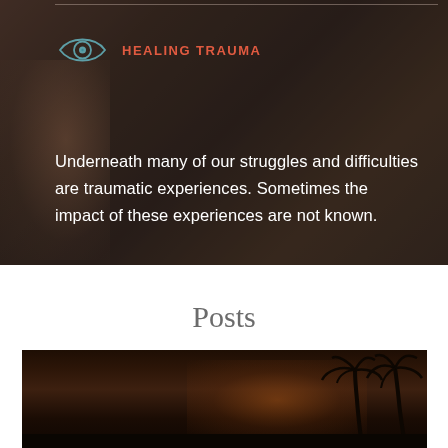[Figure (photo): Dark moody background photo showing blurred faces of people, overlaid with semi-transparent dark tint. A divider line appears at the top.]
HEALING TRAUMA
Underneath many of our struggles and difficulties are traumatic experiences. Sometimes the impact of these experiences are not known.
Posts
[Figure (photo): Dark nighttime photo showing silhouettes of palm trees against a very dark brown/orange sky.]